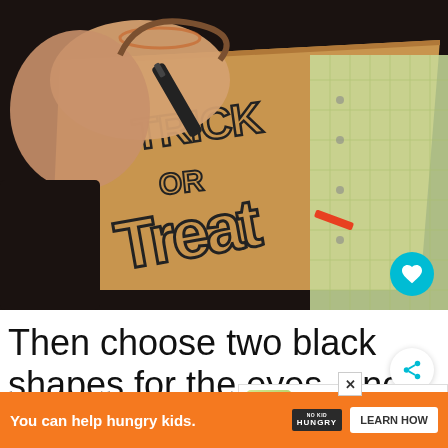[Figure (photo): Hands drawing 'Trick or Treat' lettering on a Starbucks paper bag, with a green cutting mat visible in the background.]
Then choose two black shapes for the eyes, and one for the nose… You can also take several tiny pieces and put together to make an eye shape. I cut all sizes and sh...
[Figure (infographic): WHAT'S NEXT panel showing DIY Trick or Treat Bag wi...]
[Figure (infographic): Ad banner: You can help hungry kids. NO KID HUNGRY. LEARN HOW.]